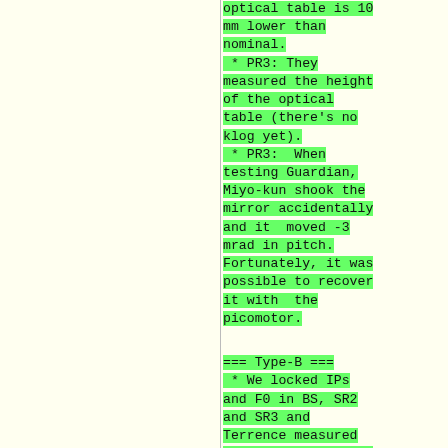optical table is 10 mm lower than nominal.
 * PR3: They measured the height of the optical table (there's no klog yet).
 * PR3: When testing Guardian, Miyo-kun shook the mirror accidentally and it moved -3 mrad in pitch. Fortunately, it was possible to recover it with the picomotor.
=== Type-B ===
* We locked IPs and F0 in BS, SR2 and SR3 and Terrence measured LVDT sensitivities.